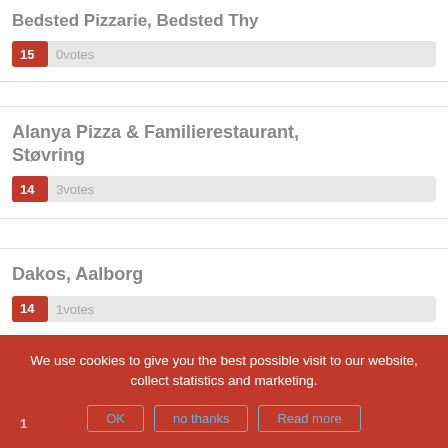Bedsted Pizzarie, Bedsted Thy — 150 votes
Alanya Pizza & Familierestaurant, Støvring — 143 votes
Dakos, Aalborg — 141 votes
Pizza Hytten, Aalborg
We use cookies to give you the best possible visit to our website, collect statistics and marketing.
OK | no thanks | Read more